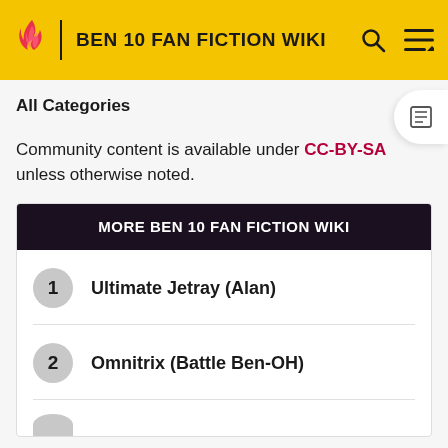BEN 10 FAN FICTION WIKI
All Categories
Community content is available under CC-BY-SA unless otherwise noted.
MORE BEN 10 FAN FICTION WIKI
1 Ultimate Jetray (Alan)
2 Omnitrix (Battle Ben-OH)